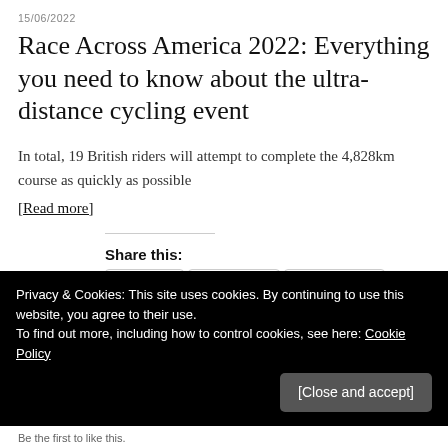15/06/2022
Race Across America 2022: Everything you need to know about the ultra-distance cycling event
In total, 19 British riders will attempt to complete the 4,828km course as quickly as possible
[Read more]
Share this:
Twitter Pinterest WhatsApp
Privacy & Cookies: This site uses cookies. By continuing to use this website, you agree to their use.
To find out more, including how to control cookies, see here: Cookie Policy
[Close and accept]
Be the first to like this.